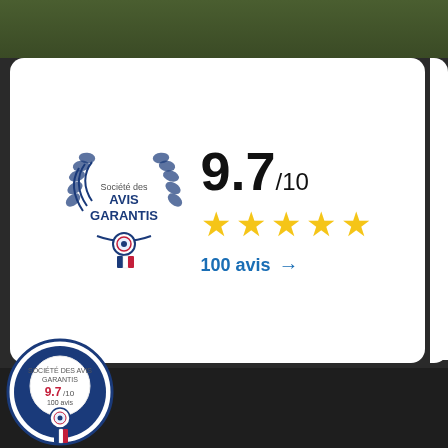[Figure (logo): Société des Avis Garantis badge with laurel wreath, showing rating 9.7/10 and 5 gold stars, 100 avis]
9.7/10
100 avis →
Merchant approved by Guaranteed Reviews Company, clic here to display attestation.
Categories
mation
My account
[Figure (logo): Société des Avis Garantis circular badge with 9.7/10 rating and 100 avis, French tricolor ribbon]